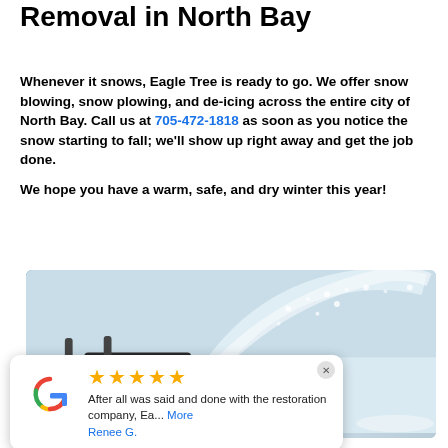Removal in North Bay
Whenever it snows, Eagle Tree is ready to go. We offer snow blowing, snow plowing, and de-icing across the entire city of North Bay. Call us at 705-472-1818 as soon as you notice the snow starting to fall; we'll show up right away and get the job done.
We hope you have a warm, safe, and dry winter this year!
[Figure (photo): A snow blower machine spraying snow, winter outdoor scene with heavy snow]
After all was said and done with the restoration company, Ea... More
Renee G.